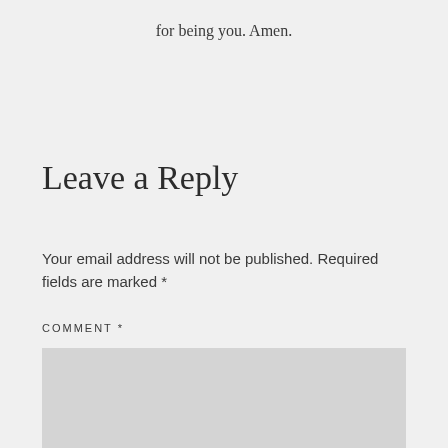for being you. Amen.
Leave a Reply
Your email address will not be published. Required fields are marked *
COMMENT *